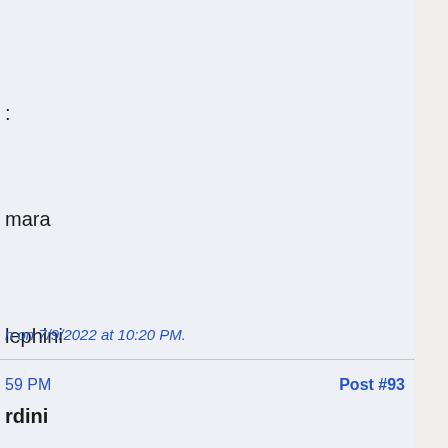:
mara
lephini
Red Panda Barb) Sylvorpa
ade Zolnixi
n on 7/9/2022 at 10:20 PM.
59 PM    Post #93
rdini